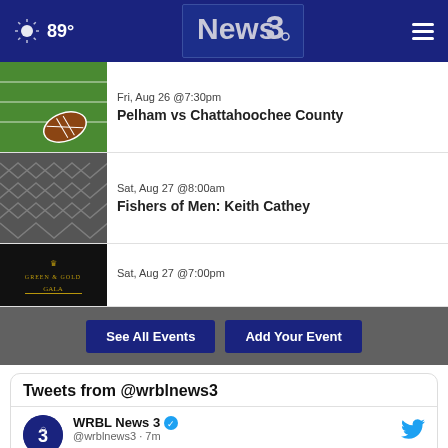89° News3 [navigation header]
Fri, Aug 26 @7:30pm
Pelham vs Chattahoochee County
Sat, Aug 27 @8:00am
Fishers of Men: Keith Cathey
Sat, Aug 27 @7:00pm
See All Events | Add Your Event
Tweets from @wrblnews3
WRBL News 3 @wrblnews3 · 7m